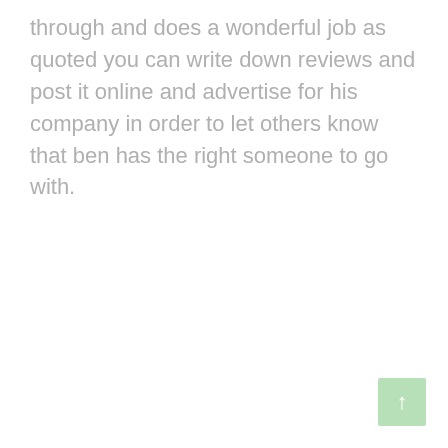through and does a wonderful job as quoted you can write down reviews and post it online and advertise for his company in order to let others know that ben has the right someone to go with.